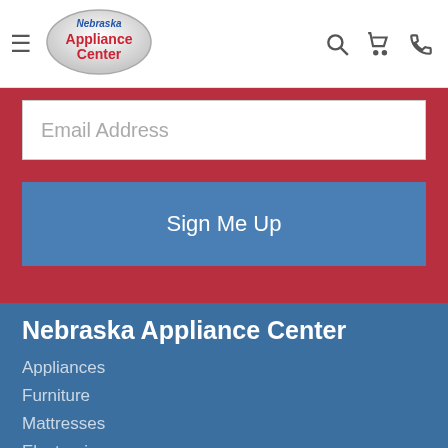[Figure (logo): Nebraska Appliance Center logo - oval shaped with red text on white/silver background]
Email Address
Sign Me Up
Nebraska Appliance Center
Appliances
Furniture
Mattresses
Electronics